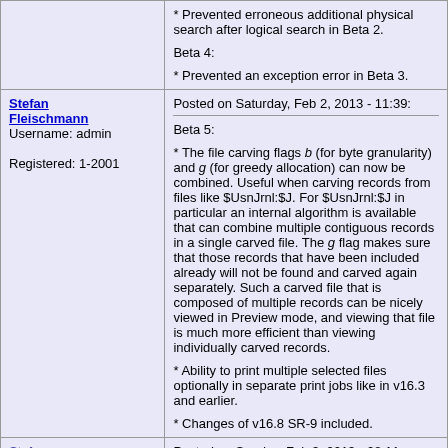| Author | Content |
| --- | --- |
|  | * Prevented erroneous additional physical search after logical search in Beta 2.

Beta 4:

* Prevented an exception error in Beta 3. |
| Stefan Fleischmann
Username: admin

Registered: 1-2001 | Posted on Saturday, Feb 2, 2013 - 11:39:

Beta 5:

* The file carving flags b (for byte granularity) and g (for greedy allocation) can now be combined. Useful when carving records from files like $UsnJrnl:$J. For $UsnJrnl:$J in particular an internal algorithm is available that can combine multiple contiguous records in a single carved file. The g flag makes sure that those records that have been included already will not be found and carved again separately. Such a carved file that is composed of multiple records can be nicely viewed in Preview mode, and viewing that file is much more efficient than viewing individually carved records.

* Ability to print multiple selected files optionally in separate print jobs like in v16.3 and earlier.

* Changes of v16.8 SR-9 included. |
| Stefan... | Posted on Sunday, Feb 3, 2013 - 08:11... |